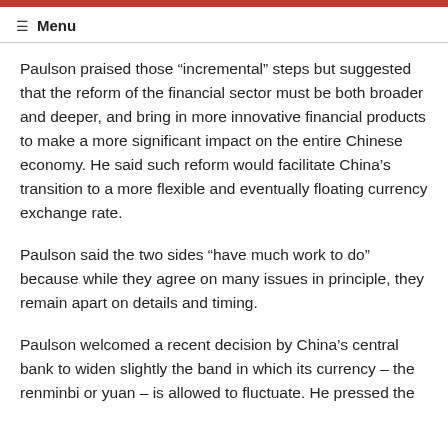Menu
Paulson praised those “incremental” steps but suggested that the reform of the financial sector must be both broader and deeper, and bring in more innovative financial products to make a more significant impact on the entire Chinese economy. He said such reform would facilitate China’s transition to a more flexible and eventually floating currency exchange rate.
Paulson said the two sides “have much work to do” because while they agree on many issues in principle, they remain apart on details and timing.
Paulson welcomed a recent decision by China’s central bank to widen slightly the band in which its currency – the renminbi or yuan – is allowed to fluctuate. He pressed the